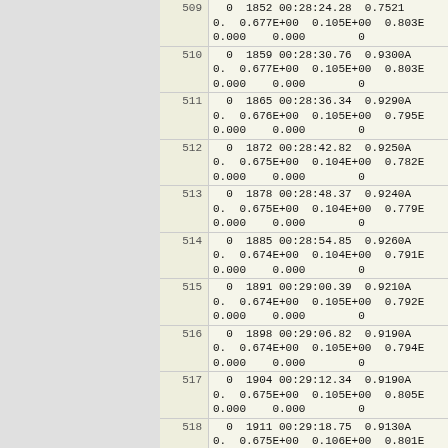| row | data |
| --- | --- |
| 509 (partial) | 0  1852 00:28:24.28  0.7521...
0.  0.677E+00  0.105E+00  0.803B
0.000    0.000        0 |
| 510 | 0  1859 00:28:30.76  0.9300A
0.  0.677E+00  0.105E+00  0.803B
0.000    0.000        0 |
| 511 | 0  1865 00:28:36.34  0.9290A
0.  0.676E+00  0.105E+00  0.795B
0.000    0.000        0 |
| 512 | 0  1872 00:28:42.82  0.9250A
0.  0.675E+00  0.104E+00  0.782B
0.000    0.000        0 |
| 513 | 0  1878 00:28:48.37  0.9240A
0.  0.675E+00  0.104E+00  0.779B
0.000    0.000        0 |
| 514 | 0  1885 00:28:54.85  0.9260A
0.  0.674E+00  0.104E+00  0.791B
0.000    0.000        0 |
| 515 | 0  1891 00:29:00.39  0.9210A
0.  0.674E+00  0.105E+00  0.792B
0.000    0.000        0 |
| 516 | 0  1898 00:29:06.82  0.9190A
0.  0.674E+00  0.105E+00  0.794B
0.000    0.000        0 |
| 517 | 0  1904 00:29:12.34  0.9190A
0.  0.675E+00  0.105E+00  0.805B
0.000    0.000        0 |
| 518 | 0  1911 00:29:18.75  0.9130A
0.  0.675E+00  0.106E+00  0.801B
0.000    0.000        0 |
| 519 | 0  1917 00:29:24.23  0.9160A
0.  0.676E+00  0.106E+00  0.812B
0.000    0.000        0 |
| 520 | 0  1924 00:29:30.62  0.9120A
0.  0.676E+00  0.106E+00  0.814B
0.000    0.000        0 |